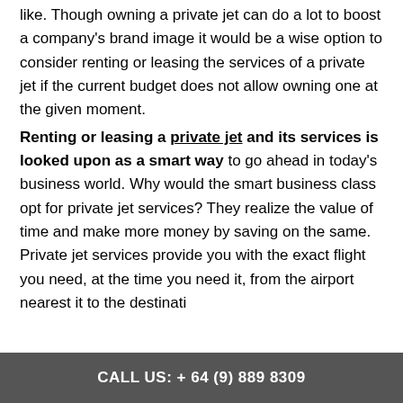like. Though owning a private jet can do a lot to boost a company's brand image it would be a wise option to consider renting or leasing the services of a private jet if the current budget does not allow owning one at the given moment.

Renting or leasing a private jet and its services is looked upon as a smart way to go ahead in today's business world. Why would the smart business class opt for private jet services? They realize the value of time and make more money by saving on the same. Private jet services provide you with the exact flight you need, at the time you need it, from the airport nearest it to the destination...
CALL US: + 64 (9) 889  8309